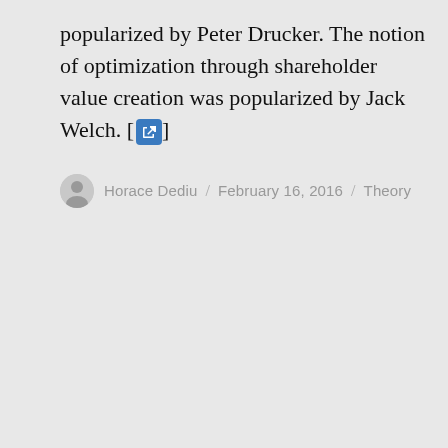popularized by Peter Drucker. The notion of optimization through shareholder value creation was popularized by Jack Welch. [link]
Horace Dediu / February 16, 2016 / Theory